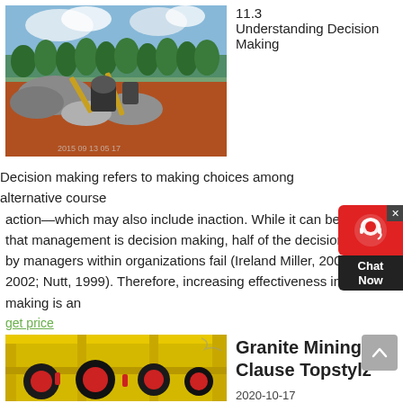[Figure (photo): Aerial view of a mining quarry site with industrial equipment, conveyor belts, piles of crushed stone, red soil, and palm trees in the background under a partly cloudy sky.]
11.3 Understanding Decision Making
Decision making refers to making choices among alternative course of action—which may also include inaction. While it can be argued that management is decision making, half of the decisions made by managers within organizations fail (Ireland Miller, 2004; Nutt, 2002; Nutt, 1999). Therefore, increasing effectiveness in decision making is an
get price
[Figure (photo): Heavy industrial mining machinery with yellow steel framework and large black and red hydraulic crushers on an elevated platform.]
Granite Mining Clause Topstylz
2020-10-17 Understanding How Granite Slabs Are